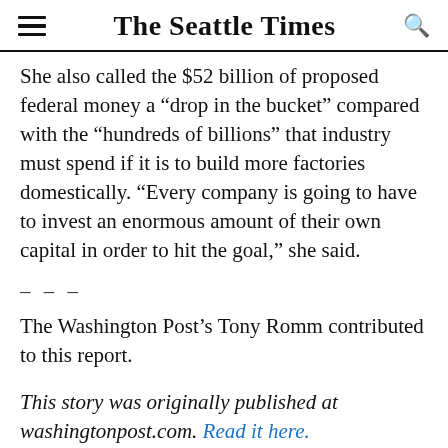The Seattle Times
She also called the $52 billion of proposed federal money a “drop in the bucket” compared with the “hundreds of billions” that industry must spend if it is to build more factories domestically. “Every company is going to have to invest an enormous amount of their own capital in order to hit the goal,” she said.
– – –
The Washington Post’s Tony Romm contributed to this report.
This story was originally published at washingtonpost.com. Read it here.